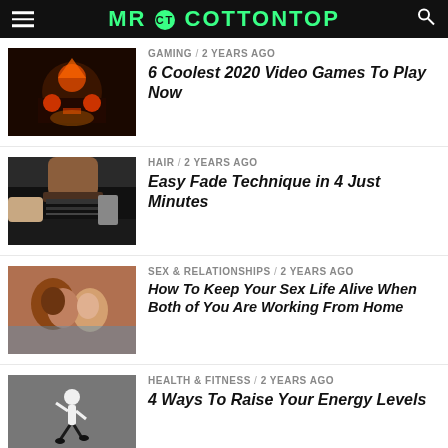MR COTTONTOP
[Figure (screenshot): Thumbnail image of video game scene with fire and characters]
GAMING / 2 years ago
6 Coolest 2020 Video Games To Play Now
[Figure (photo): Close-up of hair fade being cut]
HAIR / 2 years ago
Easy Fade Technique in 4 Just Minutes
[Figure (photo): Couple kissing intimately]
SEX & RELATIONSHIPS / 2 years ago
How To Keep Your Sex Life Alive When Both of You Are Working From Home
[Figure (photo): Man jumping/leaping in athletic wear]
HEALTH & FITNESS / 2 years ago
4 Ways To Raise Your Energy Levels
[Figure (photo): Car - Dodge Charger SRT Hellcat]
CARS / 2 years ago
Dodge Just Launched The 2020 Charger SRT Hellcat We Always Wanted